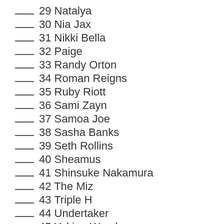___ 29 Natalya
___ 30 Nia Jax
___ 31 Nikki Bella
___ 32 Paige
___ 33 Randy Orton
___ 34 Roman Reigns
___ 35 Ruby Riott
___ 36 Sami Zayn
___ 37 Samoa Joe
___ 38 Sasha Banks
___ 39 Seth Rollins
___ 40 Sheamus
___ 41 Shinsuke Nakamura
___ 42 The Miz
___ 43 Triple H
___ 44 Undertaker
___ 45 Yokina Womb...